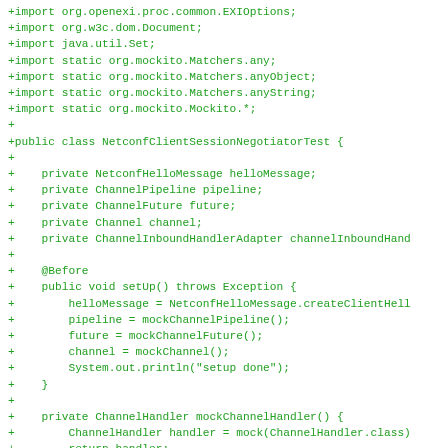[Figure (screenshot): Code diff screenshot showing Java source code additions (green text with + prefix) for a NetconfClientSessionNegotiatorTest class, including import statements, field declarations, @Before setup method, mockChannelHandler() method, and beginning of mockChannel() method.]